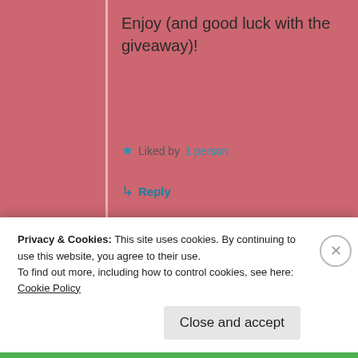Enjoy (and good luck with the giveaway)!
★ Liked by 1 person
↳ Reply
Advertisements
[Figure (screenshot): WordPress.com advertisement banner with logo and 'Start Today' button]
Privacy & Cookies: This site uses cookies. By continuing to use this website, you agree to their use.
To find out more, including how to control cookies, see here: Cookie Policy
Close and accept